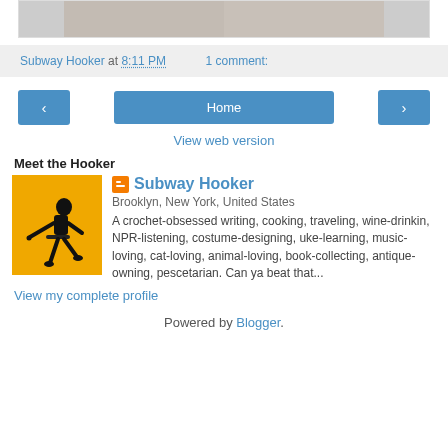[Figure (photo): Partial top image of a knitted or crocheted item, cropped at the top of the page]
Subway Hooker at 8:11 PM   1 comment:
[Figure (screenshot): Navigation buttons: left arrow, Home, right arrow]
View web version
Meet the Hooker
[Figure (illustration): Yellow square profile avatar with black silhouette of a person sitting with crochet hooks]
Subway Hooker
Brooklyn, New York, United States
A crochet-obsessed writing, cooking, traveling, wine-drinkin, NPR-listening, costume-designing, uke-learning, music-loving, cat-loving, animal-loving, book-collecting, antique-owning, pescetarian. Can ya beat that...
View my complete profile
Powered by Blogger.